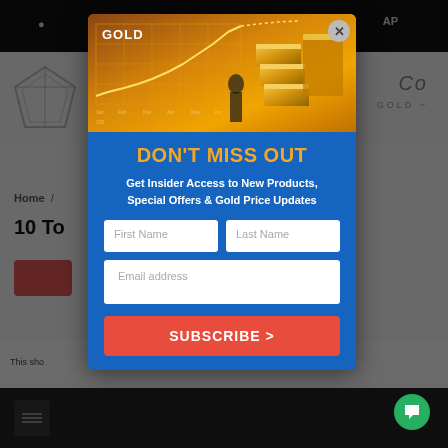[Figure (screenshot): Background of a gold retail website with navigation bar, logo, heading '10 To...' and page content partially visible]
[Figure (illustration): Gold price chart image with 'GOLD' label, showing rising line chart and gold bars stacked in background]
DON'T MISS OUT
Get Insider Access to New Products, Special Offers & Gold Price Updates
First Name
Last Name
Email address
SUBSCRIBE >